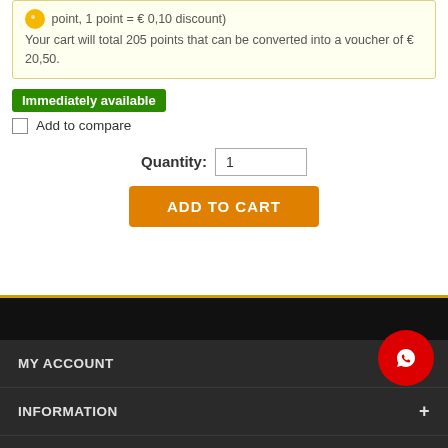point, 1 point = € 0,10 discount)
Your cart will total 205 points that can be converted into a voucher of € 20,50.
Immediately available
Add to compare
Quantity: 1
ADD TO CART
MY ACCOUNT
INFORMATION